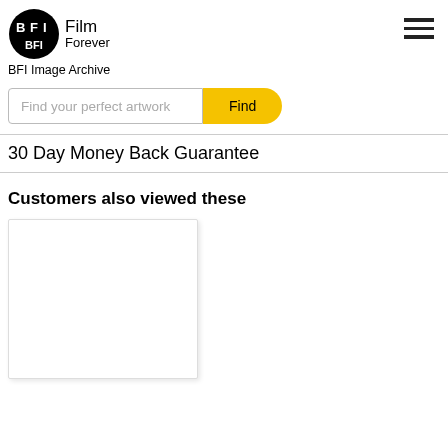BFI Film Forever — BFI Image Archive
Find your perfect artwork
Find
30 Day Money Back Guarantee
Customers also viewed these
[Figure (other): Product image card placeholder (white rectangle with border/shadow)]